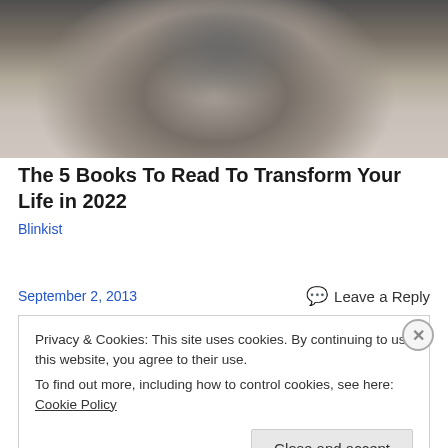[Figure (photo): Black and white close-up photo of a man with glasses (top portion visible), beard, and mustache.]
The 5 Books To Read To Transform Your Life in 2022
Blinkist
September 2, 2013
Leave a Reply
Privacy & Cookies: This site uses cookies. By continuing to use this website, you agree to their use.
To find out more, including how to control cookies, see here: Cookie Policy